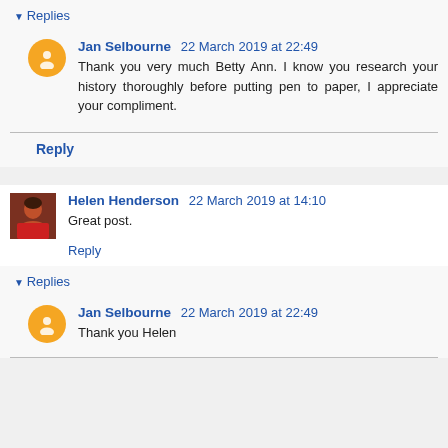Replies
Jan Selbourne 22 March 2019 at 22:49
Thank you very much Betty Ann. I know you research your history thoroughly before putting pen to paper, I appreciate your compliment.
Reply
Helen Henderson 22 March 2019 at 14:10
Great post.
Reply
Replies
Jan Selbourne 22 March 2019 at 22:49
Thank you Helen